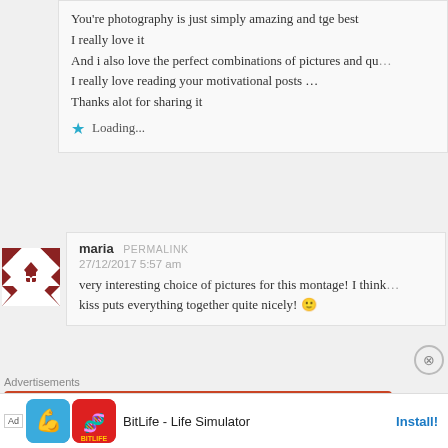You're photography is just simply amazing and tge best
I really love it
And i also love the perfect combinations of pictures and qu...
I really love reading your motivational posts …
Thanks alot for sharing it
Loading...
maria PERMALINK
27/12/2017 5:57 am
very interesting choice of pictures for this montage! I think...
kiss puts everything together quite nicely! 🙂
Advertisements
[Figure (screenshot): Orange advertisement banner for DuckDuckGo: 'Search, browse, and email with more privacy.' with phone graphic]
[Figure (screenshot): Bottom ad bar for BitLife - Life Simulator with Install button]